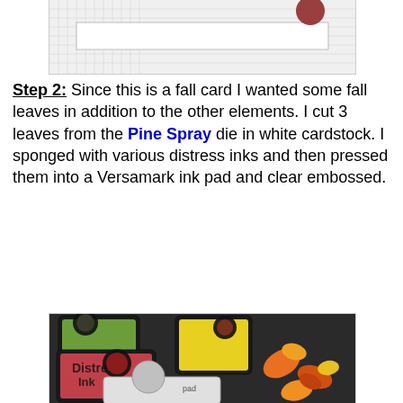[Figure (photo): Top portion of a crafting photo showing a cutting mat with paper and a craft tool, partially visible at top of page.]
Step 2: Since this is a fall card I wanted some fall leaves in addition to the other elements. I cut 3 leaves from the Pine Spray die in white cardstock. I sponged with various distress inks and then pressed them into a Versamark ink pad and clear embossed.
[Figure (photo): Photo showing three Distress Ink pads (green, red/pink, and yellow), a Versamark ink pad in front, and three orange/yellow fall leaf die cuts on a dark cutting mat.]